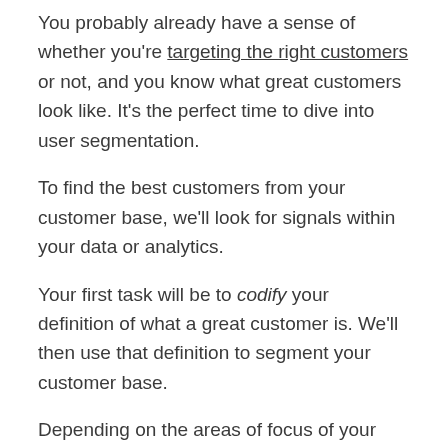You probably already have a sense of whether you're targeting the right customers or not, and you know what great customers look like. It's the perfect time to dive into user segmentation.
To find the best customers from your customer base, we'll look for signals within your data or analytics.
Your first task will be to codify your definition of what a great customer is. We'll then use that definition to segment your customer base.
Depending on the areas of focus of your business, you can look at:
Retention / Churn: Cancellation rate or monthly churn;